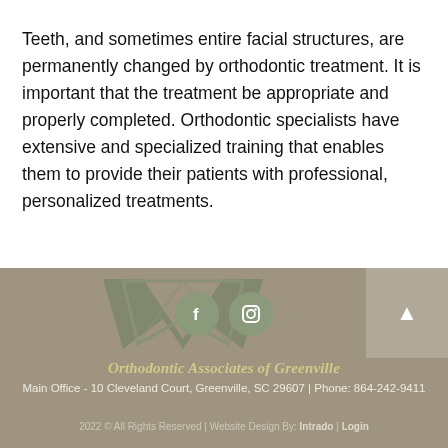Teeth, and sometimes entire facial structures, are permanently changed by orthodontic treatment. It is important that the treatment be appropriate and properly completed. Orthodontic specialists have extensive and specialized training that enables them to provide their patients with professional, personalized treatments.
[Figure (logo): Orthodontic Associates of Greenville logo with stylized tooth/shield design in muted green, overlaid with Facebook and Instagram circular social media icons]
Orthodontic Associates of Greenville
Main Office - 10 Cleveland Court, Greenville, SC 29607 | Phone: 864-242-9411
2022 © All Rights Reserved | Website Design By: Intrado | Login